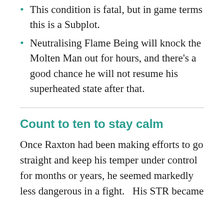This condition is fatal, but in game terms this is a Subplot.
Neutralising Flame Being will knock the Molten Man out for hours, and there's a good chance he will not resume his superheated state after that.
Count to ten to stay calm
Once Raxton had been making efforts to go straight and keep his temper under control for months or years, he seemed markedly less dangerous in a fight.   His STR became